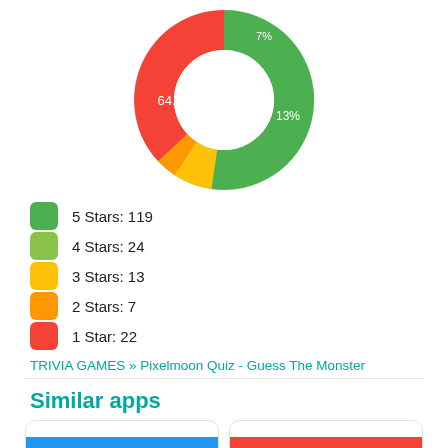[Figure (donut-chart): Star ratings distribution]
5 Stars: 119
4 Stars: 24
3 Stars: 13
2 Stars: 7
1 Star: 22
TRIVIA GAMES » Pixelmoon Quiz - Guess The Monster
Similar apps
[Figure (screenshot): Two app card thumbnails at the bottom of the page, one with a blue bar and one with a red bar]